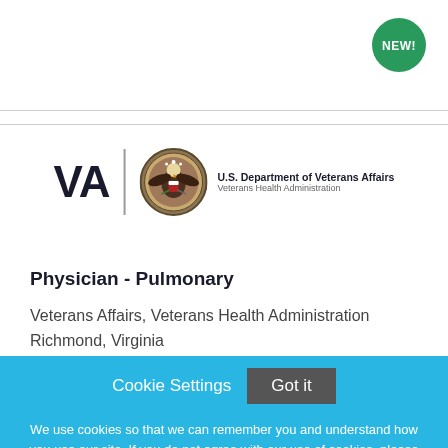[Figure (logo): NEW! badge - green circle with white bold text]
[Figure (logo): VA / U.S. Department of Veterans Affairs, Veterans Health Administration logo with eagle seal]
Physician - Pulmonary
Veterans Affairs, Veterans Health Administration
Richmond, Virginia
Cookie Settings  Got it
We use cookies so that we can remember you and understand how you use our site. If you do not agree with our use of cookies, please change the current settings found in our Cookie Policy. Otherwise, you agree to the use of the cookies as they are currently set.